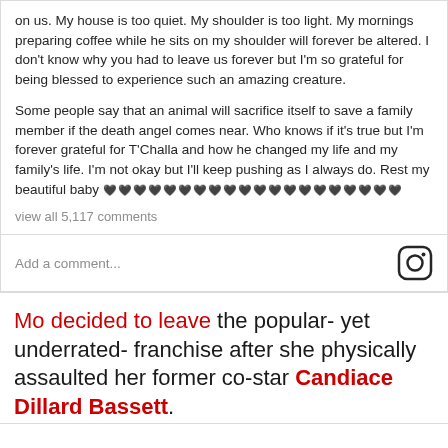on us. My house is too quiet. My shoulder is too light. My mornings preparing coffee while he sits on my shoulder will forever be altered. I don't know why you had to leave us forever but I'm so grateful for being blessed to experience such an amazing creature.
Some people say that an animal will sacrifice itself to save a family member if the death angel comes near. Who knows if it's true but I'm forever grateful for T'Challa and how he changed my life and my family's life. I'm not okay but I'll keep pushing as I always do. Rest my beautiful baby 🖤🖤🖤🖤🖤🖤🖤🖤🖤🖤🖤🖤🖤🖤🖤🖤🖤🖤🖤🖤
view all 5,117 comments
Add a comment...
Mo decided to leave the popular- yet underrated- franchise after she physically assaulted her former co-star Candiace Dillard Bassett.